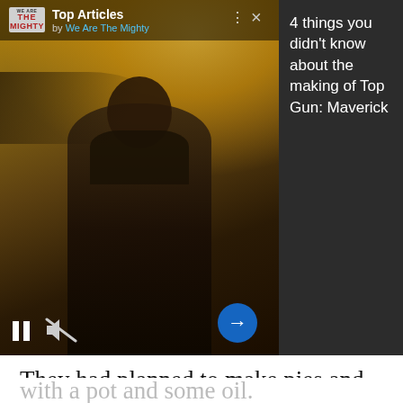[Figure (screenshot): Ad widget showing Top Articles by We Are The Mighty with a movie still from Top Gun: Maverick. Shows a man in pilot gear in front of a fighter jet with warm golden tones. Has playback controls (pause, mute) and an arrow navigation button. Right panel shows dark background with white text.]
They had planned to make pies and cakes, but very quickly discovered that the camps really didn't have the capacity for that kind of baked good. Donuts, however, were made with basic ingredients and, most importantly, were fried, which made them a lot easier to cook anywhere with a pot and some oil.